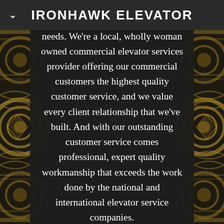IRONHAWK ELEVATOR
needs. We're a local, wholly woman owned commercial elevator services provider offering our commercial customers the highest quality customer service, and we value every client relationship that we've built. And with our outstanding customer service comes professional, expert quality workmanship that exceeds the work done by the national and international elevator service companies.
[Figure (illustration): Decorative gold and black swirling mandala/tribal pattern background on the left and right sides of the page]